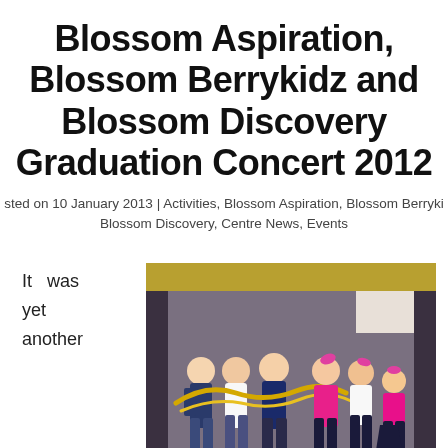Blossom Aspiration, Blossom Berrykidz and Blossom Discovery Graduation Concert 2012
sted on 10 January 2013 | Activities, Blossom Aspiration, Blossom Berryki  Blossom Discovery, Centre News, Events
It was yet another
[Figure (photo): Children performing on stage at a graduation concert, boys in navy blue outfits and girls in pink outfits, holding golden tinsel garlands on a wooden stage.]